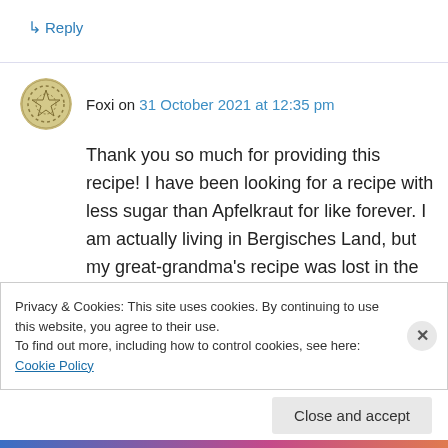↳ Reply
Foxi on 31 October 2021 at 12:35 pm
Thank you so much for providing this recipe! I have been looking for a recipe with less sugar than Apfelkraut for like forever. I am actually living in Bergisches Land, but my great-grandma's recipe was lost in the 70s. My Granny says your Berliner Brit tastes the way she remembers it from her Mum!
Privacy & Cookies: This site uses cookies. By continuing to use this website, you agree to their use.
To find out more, including how to control cookies, see here: Cookie Policy
Close and accept